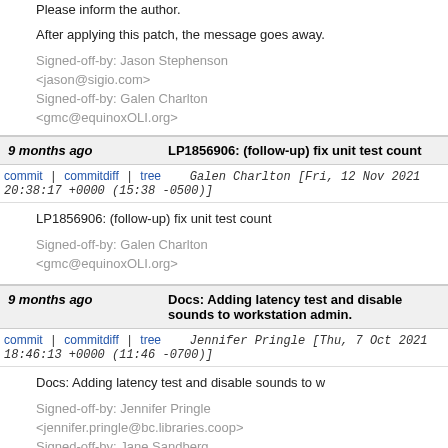Please inform the author.

After applying this patch, the message goes away.

Signed-off-by: Jason Stephenson <jason@sigio.com>
Signed-off-by: Galen Charlton <gmc@equinoxOLI.org>
9 months ago   LP1856906: (follow-up) fix unit test count
commit | commitdiff | tree   Galen Charlton [Fri, 12 Nov 2021 20:38:17 +0000 (15:38 -0500)]
LP1856906: (follow-up) fix unit test count

Signed-off-by: Galen Charlton <gmc@equinoxOLI.org>
9 months ago   Docs: Adding latency test and disable sounds to workstation admin.
commit | commitdiff | tree   Jennifer Pringle [Thu, 7 Oct 2021 18:46:13 +0000 (11:46 -0700)]
Docs: Adding latency test and disable sounds to w

Signed-off-by: Jennifer Pringle <jennifer.pringle@bc.libraries.coop>
Signed-off-by: Jane Sandberg <sandbergja@gmail.com>